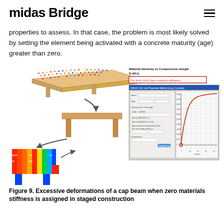midas Bridge
properties to assess. In that case, the problem is most likely solved by setting the element being activated with a concrete maturity (age) greater than zero.
[Figure (engineering-diagram): Left side: 3D FEM illustration showing staged construction of a cap beam bridge structure — top beam with red/blue stress contour coloring, columns, and progressive construction stages shown with arrows. Right side: Material elasticity vs Compressive strength dialog showing E=f(f'c) with a red highlighted box 'For fc=0, E=0 (zero material stiffness)', and a software dialog with a curve graph showing material elasticity vs compressive strength.]
Figure 9. Excessive deformations of a cap beam when zero materials stiffness is assigned in staged construction